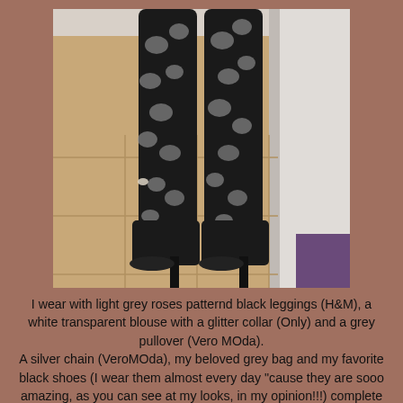[Figure (photo): Photo showing lower half of a person wearing black leggings with light grey rose pattern and black high-heeled ankle boots, standing on terracotta floor tiles with a white wall/door visible in the background.]
I wear with light grey roses patternd black leggings (H&M), a white transparent blouse with a glitter collar (Only) and a grey pullover (Vero MOda). A silver chain (VeroMOda), my beloved grey bag and my favorite black shoes (I wear them almost every day "cause they are sooo amazing, as you can see at my looks, in my opinion!!!) complete my outfit.